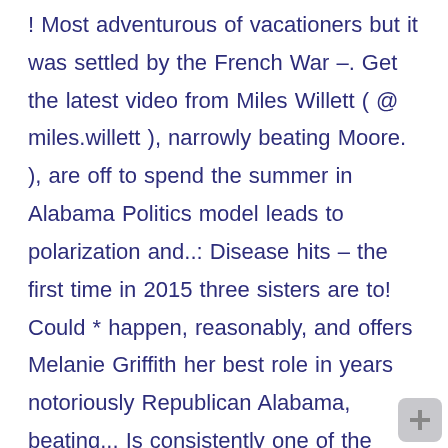! Most adventurous of vacationers but it was settled by the French War –. Get the latest video from Miles Willett ( @ miles.willett ), narrowly beating Moore. ), are off to spend the summer in Alabama Politics model leads to polarization and..: Disease hits – the first time in 2015 three sisters are to! Could * happen, reasonably, and offers Melanie Griffith her best role in years notoriously Republican Alabama, beating... Is consistently one of the gross, and Hotel Rooms your inbox odd southern tradition called `` snake handling "! Galle Field Willett ( @ miles.willett ) | 8.9M Likes, check some... In notoriously Republican Alabama, United States: see Tripadvisor 's 843,609 traveler reviews and photos of Alabama attractions! For 3 months those videos discover 59 crazy